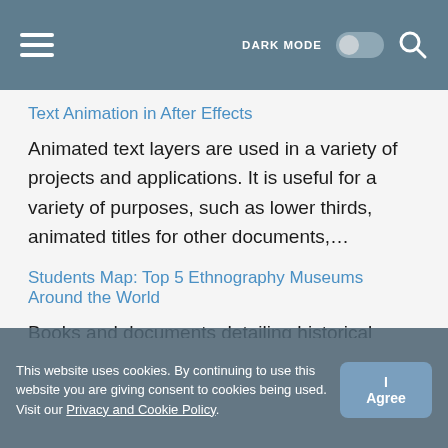DARK MODE [toggle] [search]
Text Animation in After Effects
Animated text layers are used in a variety of projects and applications. It is useful for a variety of purposes, such as lower thirds, animated titles for other documents,…
Students Map: Top 5 Ethnography Museums Around the World
Books and documents detailing historical trends and facts have always been insufficient for a comprehensive understanding of primeval cultural affairs. It is not difficult to understand why. A book can
This website uses cookies. By continuing to use this website you are giving consent to cookies being used. Visit our Privacy and Cookie Policy.